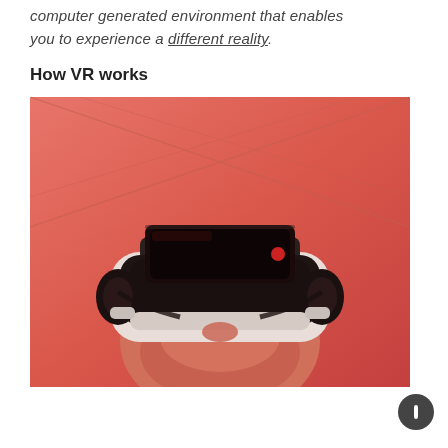computer generated environment that enables you to experience a different reality.
How VR works
[Figure (photo): Person wearing a VR headset with a smartphone inserted, looking upward, bathed in red/orange light against a pink-red background with geometric ceiling lines.]